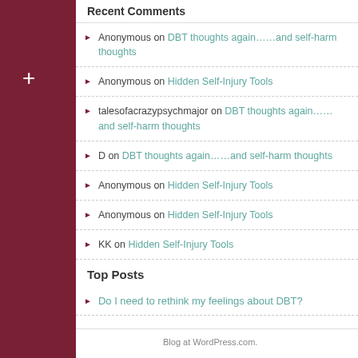Recent Comments
Anonymous on DBT thoughts again……and self-harm thoughts
Anonymous on Hidden Self-Injury Tools
talesofacrazypsychmajor on DBT thoughts again……and self-harm thoughts
D on DBT thoughts again……and self-harm thoughts
Anonymous on Hidden Self-Injury Tools
Anonymous on Hidden Self-Injury Tools
KK on Hidden Self-Injury Tools
Top Posts
Do I need to rethink my feelings about DBT?
Blog at WordPress.com.